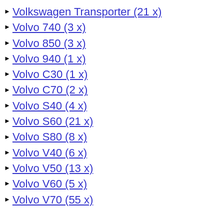Volkswagen Transporter (21 x)
Volvo 740 (3 x)
Volvo 850 (3 x)
Volvo 940 (1 x)
Volvo C30 (1 x)
Volvo C70 (2 x)
Volvo S40 (4 x)
Volvo S60 (21 x)
Volvo S80 (8 x)
Volvo V40 (6 x)
Volvo V50 (13 x)
Volvo V60 (5 x)
Volvo V70 (55 x)